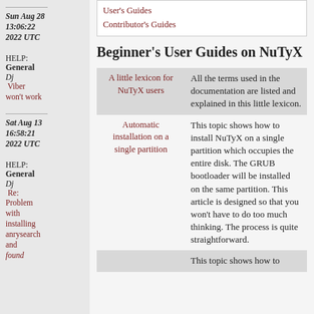User's Guides
Contributor's Guides
Sun Aug 28
13:06:22
2022 UTC
HELP: General
Dj Viber won't work
Sat Aug 13
16:58:21
2022 UTC
HELP: General
Dj Re: Problem with installing anrysearch and found
Beginner's User Guides on NuTyX
| Topic | Description |
| --- | --- |
| A little lexicon for NuTyX users | All the terms used in the documentation are listed and explained in this little lexicon. |
| Automatic installation on a single partition | This topic shows how to install NuTyX on a single partition which occupies the entire disk. The GRUB bootloader will be installed on the same partition. This article is designed so that you won't have to do too much thinking. The process is quite straightforward. |
|  | This topic shows how to |